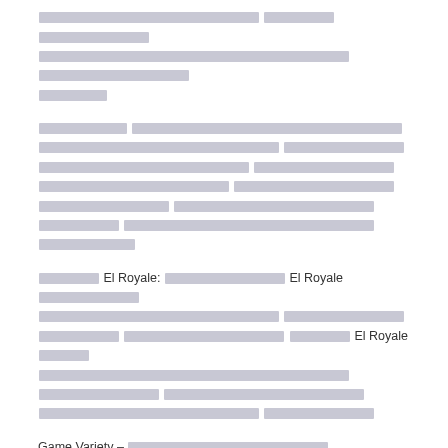[redacted paragraph 1]
[redacted paragraph 2]
[redacted paragraph 3 mentioning El Royale]
Game Variety – [redacted]